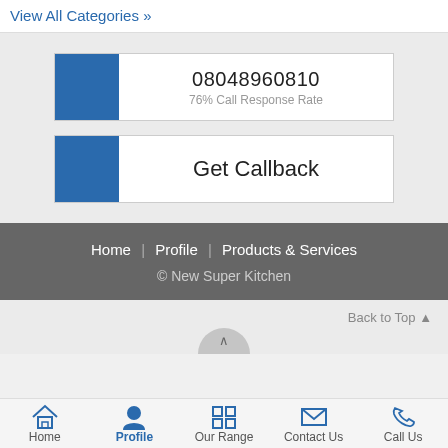View All Categories »
[Figure (other): Phone call button with blue tab on left, showing phone number 08048960810 and 76% Call Response Rate]
[Figure (other): Get Callback button with blue tab on left]
Home | Profile | Products & Services
© New Super Kitchen
Back to Top ▲
Home | Profile | Our Range | Contact Us | Call Us